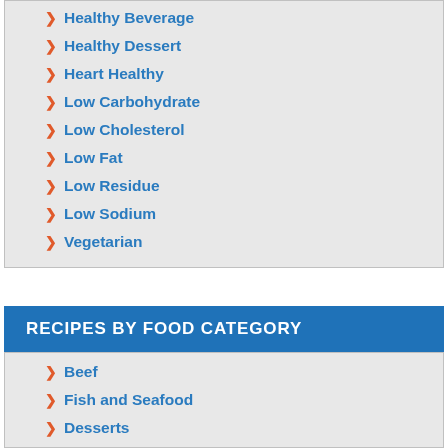Healthy Beverage
Healthy Dessert
Heart Healthy
Low Carbohydrate
Low Cholesterol
Low Fat
Low Residue
Low Sodium
Vegetarian
RECIPES BY FOOD CATEGORY
Beef
Fish and Seafood
Desserts
Healthy Snacks